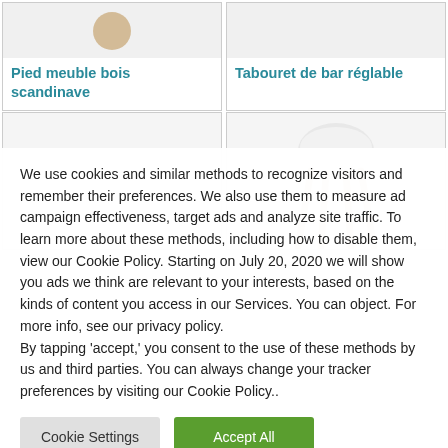Pied meuble bois scandinave
Tabouret de bar réglable
[Figure (photo): Product image placeholder area (empty)]
[Figure (photo): Bar stool chair with white round seat and wooden legs]
We use cookies and similar methods to recognize visitors and remember their preferences. We also use them to measure ad campaign effectiveness, target ads and analyze site traffic. To learn more about these methods, including how to disable them, view our Cookie Policy. Starting on July 20, 2020 we will show you ads we think are relevant to your interests, based on the kinds of content you access in our Services. You can object. For more info, see our privacy policy.
By tapping 'accept,' you consent to the use of these methods by us and third parties. You can always change your tracker preferences by visiting our Cookie Policy..
Cookie Settings
Accept All